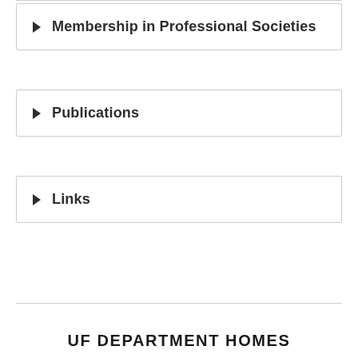▶ Membership in Professional Societies
▶ Publications
▶ Links
UF DEPARTMENT HOMES